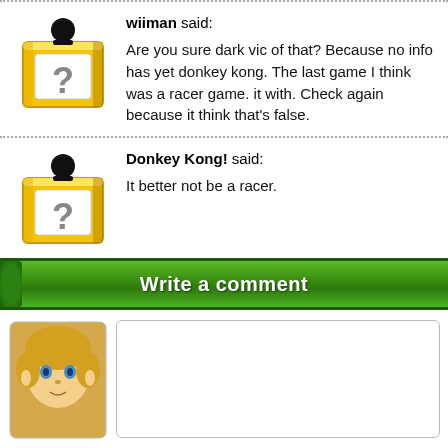wiiman said: Are you sure dark vic of that? Because no info has yet donkey kong. The last game I think was a racer game. it with. Check again because it think that's false.
Donkey Kong! said: It better not be a racer.
Write a comment
[Figure (illustration): Link character avatar for comment input]
Instant join Username